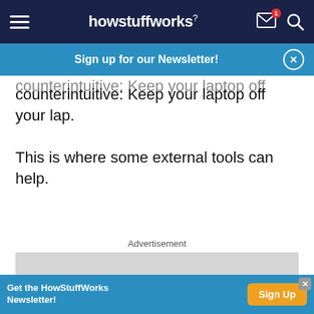howstuffworks
Sign up for our Newsletter!
counterintuitive: Keep your laptop off your lap.
This is where some external tools can help.
Advertisement
[Figure (other): Gray advertisement placeholder box]
Get the HowStuffWorks Newsletter! Sign Up